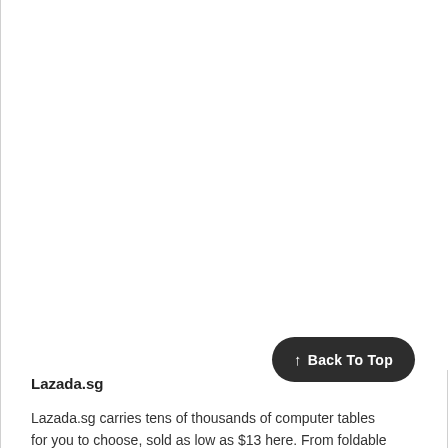Lazada.sg
Lazada.sg carries tens of thousands of computer tables for you to choose, sold as low as $13 here. From foldable computer tables, computer side tables to desk and
[Figure (other): Back To Top button overlay in dark rounded pill shape with upward arrow and white text]